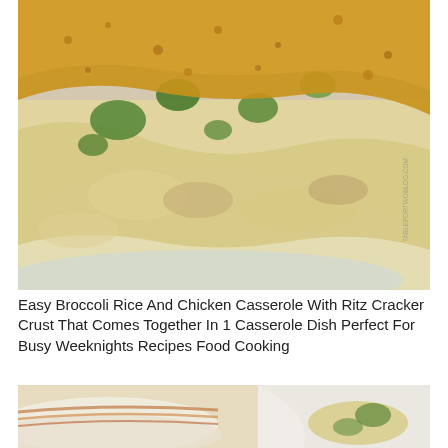[Figure (photo): Close-up photo of a broccoli rice and chicken casserole with a golden Ritz cracker crust, served on a white plate. The casserole shows layers of rice, chicken, green broccoli, and a cheesy sauce topped with buttery cracker crumbs. A watermark reads TABLEFORTWOBLOG.COM.]
Easy Broccoli Rice And Chicken Casserole With Ritz Cracker Crust That Comes Together In 1 Casserole Dish Perfect For Busy Weeknights Recipes Food Cooking
[Figure (photo): Partial photo showing a stack of plates with orange and brown rims, and a white serving dish containing what appears to be soup or casserole with broccoli visible.]